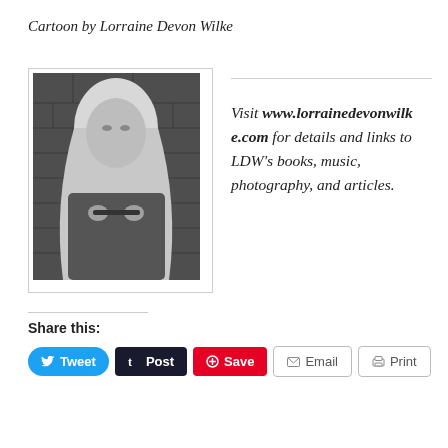Cartoon by Lorraine Devon Wilke
[Figure (photo): Black and white portrait photo of a blonde woman holding glasses up to her mouth, with a brick wall background]
Visit www.lorrainedevonwilke.com for details and links to LDW's books, music, photography, and articles.
Share this:
Tweet  Post  Save  Email  Print